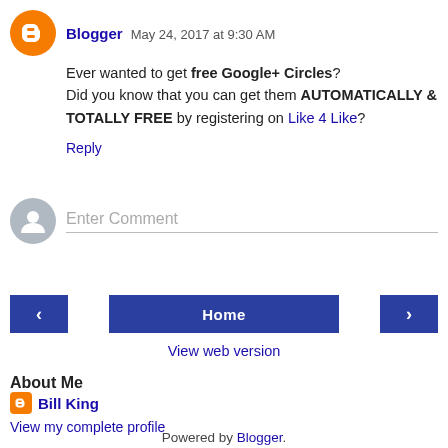Blogger  May 24, 2017 at 9:30 AM
Ever wanted to get free Google+ Circles? Did you know that you can get them AUTOMATICALLY & TOTALLY FREE by registering on Like 4 Like?
Reply
Enter Comment
[Figure (screenshot): Navigation buttons: left arrow, Home, right arrow]
View web version
About Me
Bill King
View my complete profile
Powered by Blogger.